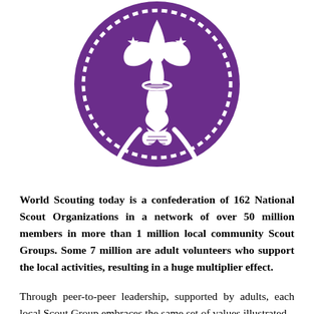[Figure (logo): World Scout emblem: purple circle with white fleur-de-lis symbol, rope border with reef knot, and two stars]
World Scouting today is a confederation of 162 National Scout Organizations in a network of over 50 million members in more than 1 million local community Scout Groups. Some 7 million are adult volunteers who support the local activities, resulting in a huge multiplier effect.
Through peer-to-peer leadership, supported by adults, each local Scout Group embraces the same set of values illustrated